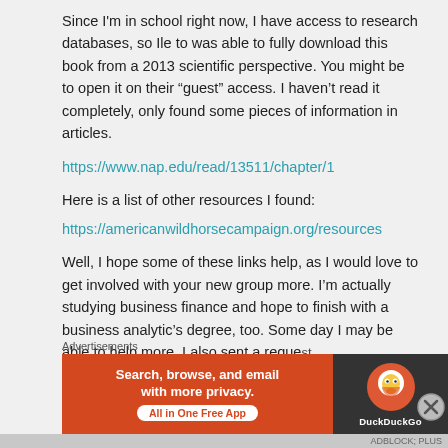Since I'm in school right now, I have access to research databases, so Ile to was able to fully download this book from a 2013 scientific perspective. You might be to open it on their “guest” access. I haven’t read it completely, only found some pieces of information in articles.
https://www.nap.edu/read/13511/chapter/1
Here is a list of other resources I found:
https://americanwildhorsecampaign.org/resources
Well, I hope some of these links help, as I would love to get involved with your new group more. I’m actually studying business finance and hope to finish with a business analytic’s degree, too. Some day I may be able to help more. I also sent a request
Advertisements
[Figure (infographic): DuckDuckGo advertisement banner: orange left section with text 'Search, browse, and email with more privacy. All in One Free App' and dark right section with DuckDuckGo logo.]